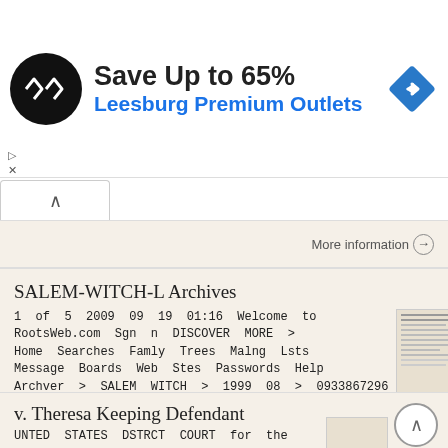[Figure (advertisement): Ad banner with circular black logo, 'Save Up to 65%' text, 'Leesburg Premium Outlets' in blue, and a blue diamond navigation icon]
SALEM-WITCH-L Archives
1 of 5 2009 09 19 01:16 Welcome to RootsWeb.com Sgn n DISCOVER MORE > Home Searches Famly Trees Malng Lsts Message Boards Web Stes Passwords Help Archver > SALEM WITCH > 1999 08 > 0933867296 SALEM-WITCH-L
More information ⊙
v. Theresa Keeping Defendant
UNTED STATES DSTRCT COURT for the